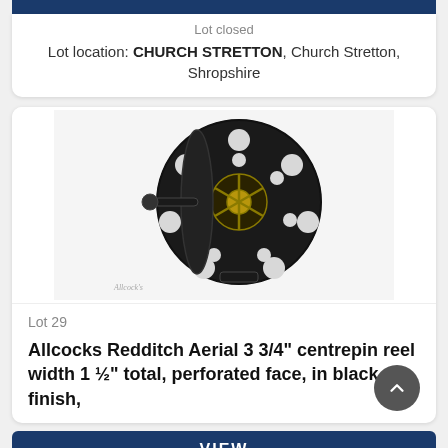Lot closed
Lot location: CHURCH STRETTON, Church Stretton, Shropshire
[Figure (photo): Black Allcocks Redditch Aerial centrepin fishing reel with perforated face and brass hub, shown on white background with Allcock's watermark]
Lot 29
Allcocks Redditch Aerial 3 3/4" centrepin reel width 1 ½" total, perforated face, in black finish,
VIEW